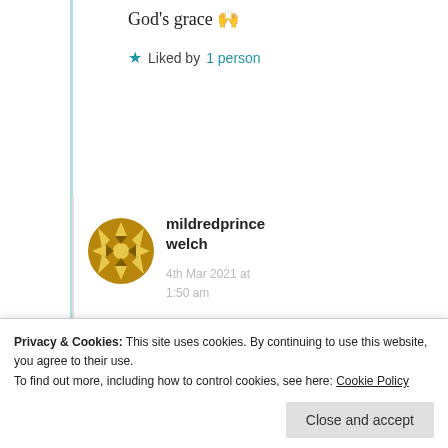God's grace 🙌
★ Liked by 1 person
mildredprince welch
4th Mar 2021 at 1:50 am
Thank you!
Privacy & Cookies: This site uses cookies. By continuing to use this website, you agree to their use.
To find out more, including how to control cookies, see here: Cookie Policy
Close and accept